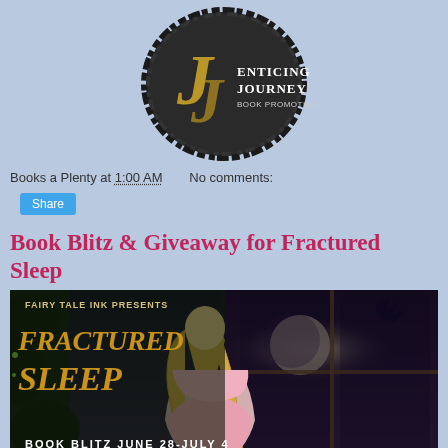[Figure (logo): Enticing Journey Book Promotions circular logo with dark brush-stroke circle, stylized yellow 'J' letters, white serif text 'ENTICING JOURNEY' and 'BOOK PROMOTIONS']
Books a Plenty at 1:00 AM   No comments:
Share
Book Blitz & Giveaway for Fractured Sleep
[Figure (illustration): Fairy Tale Ink Presents - Fractured Sleep book blitz banner. Shows a blonde girl in a pink dress looking at a moonlit window with a dragon. Text reads 'FRACTURED SLEEP' in gold letters and 'BOOK BLITZ JUNE 28–JULY 4' at the bottom.]